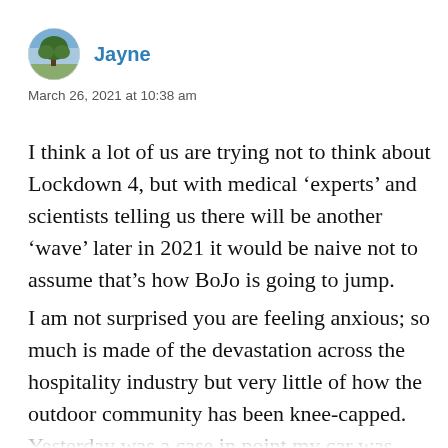[Figure (photo): Circular avatar photo of a tree silhouette against a sky background]
Jayne
March 26, 2021 at 10:38 am
I think a lot of us are trying not to think about Lockdown 4, but with medical ‘experts’ and scientists telling us there will be another ‘wave’ later in 2021 it would be naive not to assume that’s how BoJo is going to jump.
I am not surprised you are feeling anxious; so much is made of the devastation across the hospitality industry but very little of how the outdoor community has been knee-capped. Yesterday was a case in point my car was superbly valeted by a lovely